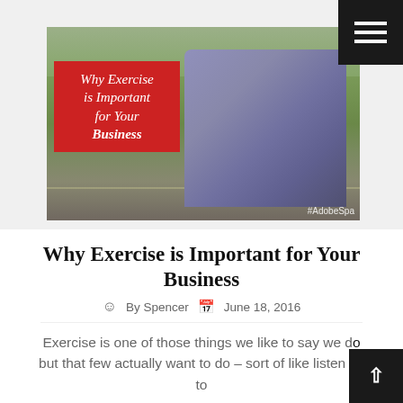[Figure (photo): Hero image of a person in a blue tracksuit with a white headband stretching on a grass field. Red overlay box reads 'Why Exercise is Important for Your Business'. Watermark '#AdobeSpa' visible at bottom right.]
Why Exercise is Important for Your Business
By Spencer   June 18, 2016
Exercise is one of those things we like to say we do but that few actually want to do – sort of like listening to